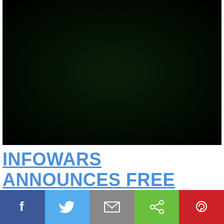[Figure (photo): Dark nearly black image, possibly a video thumbnail with very dark green/black tones]
INFOWARS ANNOUNCES FREE SPEECH POSTER CHALLENGE
WINNERS! Top Infowarriors
[Figure (infographic): Social sharing bar with Facebook, Twitter, Email, Share, and Pinterest buttons]